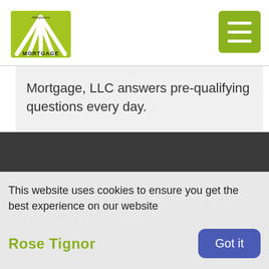[Figure (logo): Allegiance Mortgage LLC logo with green stylized arch/fan icon and text 'Mortgage' beneath it]
Mortgage, LLC answers pre-qualifying questions every day.
This website uses cookies to ensure you get the best experience on our website
Rose Tignor
Got it